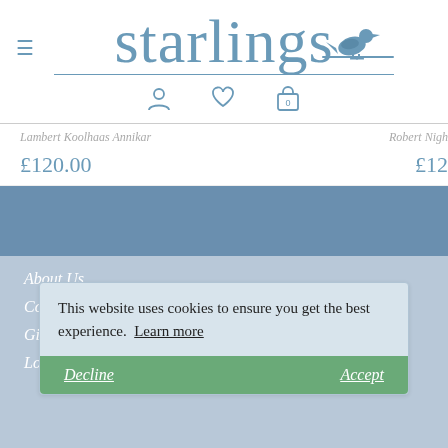[Figure (logo): Starlings logo with bird silhouette on a perch, decorative underline, and hamburger menu icon]
Lambert Koolhaas Annikar
£120.00
Robert Nigh...
£12...
About Us
Contact
Gift Vouchers
This website uses cookies to ensure you get the best experience.  Learn more
Loyalty Card
Decline
Accept
Adult Sizing Guide